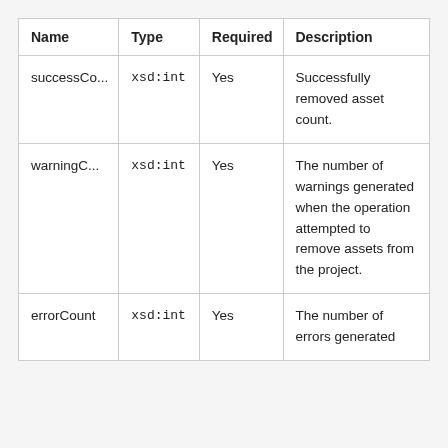| Name | Type | Required | Description |
| --- | --- | --- | --- |
| successCo... | xsd:int | Yes | Successfully removed asset count. |
| warningC... | xsd:int | Yes | The number of warnings generated when the operation attempted to remove assets from the project. |
| errorCount | xsd:int | Yes | The number of errors generated... |